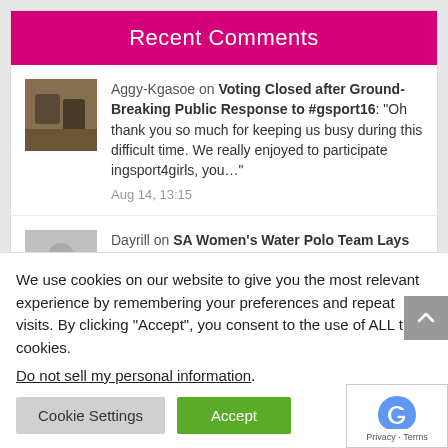Recent Comments
Aggy-Kgasoe on Voting Closed after Ground-Breaking Public Response to #gsport16: “Oh thank you so much for keeping us busy during this difficult time. We really enjoyed to participate ingsport4girls, you…”
Aug 14, 13:15
Dayrill on SA Women’s Water Polo Team Lays Foundation for Next Generation at Olympics: “Go my child! First women’s Waterpolo
We use cookies on our website to give you the most relevant experience by remembering your preferences and repeat visits. By clicking “Accept”, you consent to the use of ALL the cookies.
Do not sell my personal information.
Cookie Settings
Accept